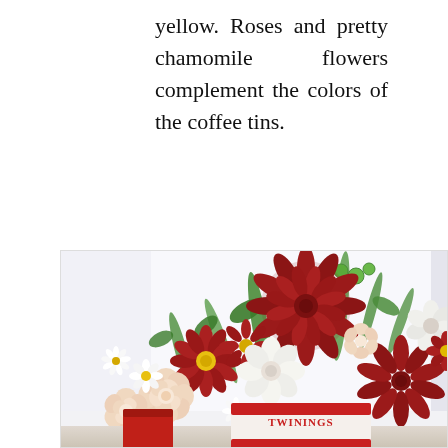yellow. Roses and pretty chamomile flowers complement the colors of the coffee tins.
[Figure (photo): A floral arrangement featuring dark red chrysanthemums, peach/cream roses, white chamomile-like flowers, and green stems, arranged in Twinings tea tins. The arrangement sits on a light surface with a bright white background.]